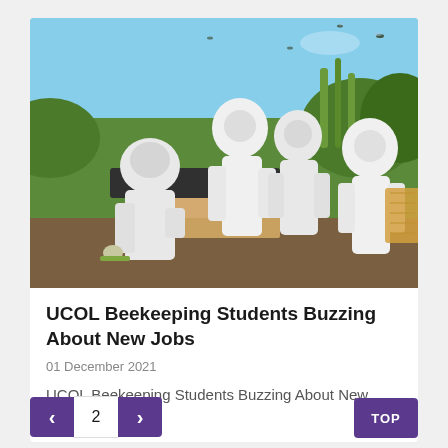[Figure (photo): Four people in white full-body beekeeping suits and veiled helmets working around beehive boxes outdoors in a green, sunny environment. One person is bending over a dark hive lid, another holds a honeycomb frame, others stand nearby. Bees visible flying around.]
UCOL Beekeeping Students Buzzing About New Jobs
01 December 2021
UCOL Beekeeping Students Buzzing About New Jobs